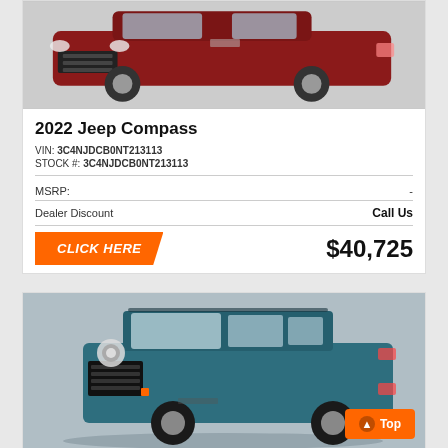[Figure (photo): Red 2022 Jeep Compass SUV front view]
2022 Jeep Compass
VIN: 3C4NJDCB0NT213113
STOCK #: 3C4NJDCB0NT213113
| MSRP: | - |
| Dealer Discount | Call Us |
CLICK HERE    $40,725
[Figure (photo): Blue Jeep Renegade SUV front 3/4 view]